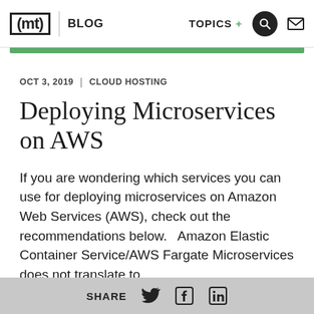(mt) BLOG | TOPICS + [search] [mail]
OCT 3, 2019  |  CLOUD HOSTING
Deploying Microservices on AWS
If you are wondering which services you can use for deploying microservices on Amazon Web Services (AWS), check out the recommendations below.   Amazon Elastic Container Service/AWS Fargate Microservices does not translate to
SHARE [Twitter] [Facebook] [LinkedIn]